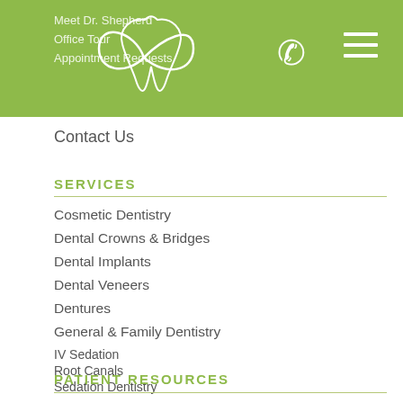Meet Dr. Shepherd
Office Tour
Appointment Requests
Contact Us
SERVICES
Cosmetic Dentistry
Dental Crowns & Bridges
Dental Implants
Dental Veneers
Dentures
General & Family Dentistry
IV Sedation
Root Canals
Sedation Dentistry
Sleep Apnea
Teeth Whitening
TMJ
PATIENT RESOURCES